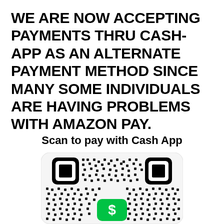WE ARE NOW ACCEPTING PAYMENTS THRU CASH-APP AS AN ALTERNATE PAYMENT METHOD SINCE MANY SOME INDIVIDUALS ARE HAVING PROBLEMS WITH AMAZON PAY.
Scan to pay with Cash App
[Figure (other): QR code for Cash App payment with two finder pattern squares visible at top-left and top-right corners, and a green Cash App logo (dollar sign icon) centered at the bottom portion of the QR code. The QR code is displayed on a white rounded-rectangle background.]